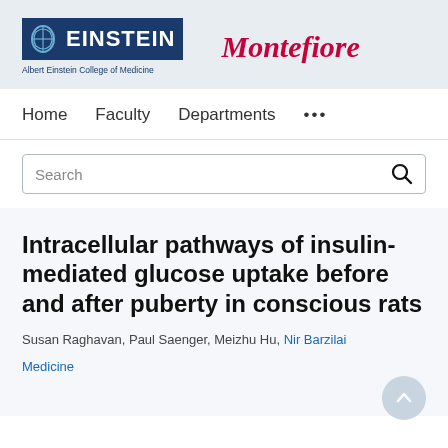[Figure (logo): Albert Einstein College of Medicine and Montefiore logos side by side on a light blue-grey header bar]
Home   Faculty   Departments   ...
Search
Intracellular pathways of insulin-mediated glucose uptake before and after puberty in conscious rats
Susan Raghavan, Paul Saenger, Meizhu Hu, Nir Barzilai
Medicine